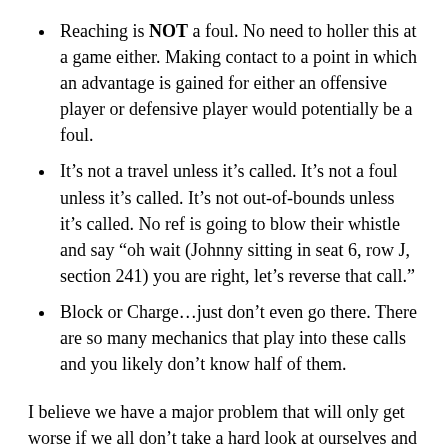Reaching is NOT a foul. No need to holler this at a game either. Making contact to a point in which an advantage is gained for either an offensive player or defensive player would potentially be a foul.
It’s not a travel unless it’s called. It’s not a foul unless it’s called. It’s not out-of-bounds unless it’s called. No ref is going to blow their whistle and say “oh wait (Johnny sitting in seat 6, row J, section 241) you are right, let’s reverse that call.”
Block or Charge…just don’t even go there. There are so many mechanics that play into these calls and you likely don’t know half of them.
I believe we have a major problem that will only get worse if we all don’t take a hard look at ourselves and what we allow. If you are a parent and you can answer